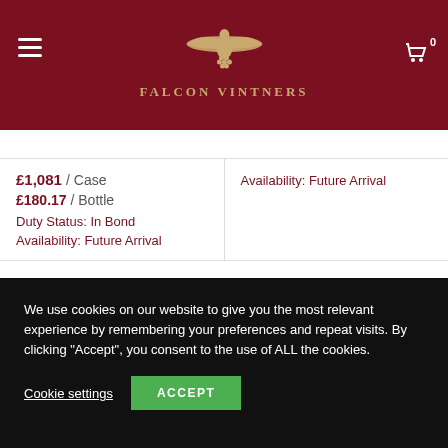[Figure (logo): Falcon Vintners logo with bird and grapes, brand name below]
| Left Column | Right Column |
| --- | --- |
| £1,081 / Case
£180.17 / Bottle
Duty Status: In Bond
Availability: Future Arrival | Availability: Future Arrival |
[Figure (logo): Falcon Vintners bird logo in footer dark area]
We use cookies on our website to give you the most relevant experience by remembering your preferences and repeat visits. By clicking "Accept", you consent to the use of ALL the cookies.
Cookie settings  ACCEPT